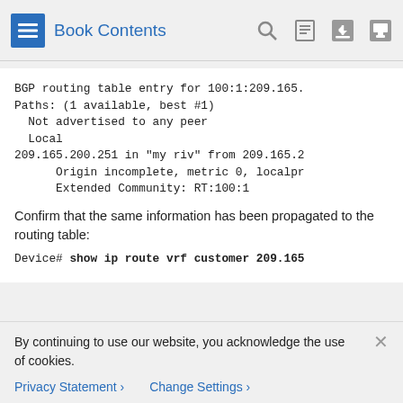Book Contents
BGP routing table entry for 100:1:209.165.
Paths: (1 available, best #1)
  Not advertised to any peer
  Local
209.165.200.251 in "my riv" from 209.165.2
      Origin incomplete, metric 0, localpr
      Extended Community: RT:100:1
Confirm that the same information has been propagated to the routing table:
Device# show ip route vrf customer 209.165
Routing entry for 209.165.200.250
By continuing to use our website, you acknowledge the use of cookies.
Privacy Statement > Change Settings >